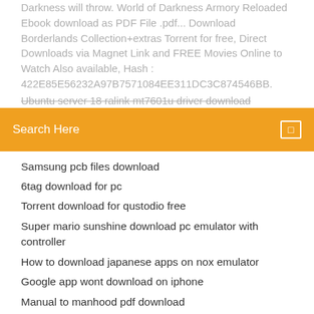Darkness will throw. World of Darkness Armory Reloaded Ebook download as PDF File .pdf... Download Borderlands Collection+extras Torrent for free, Direct Downloads via Magnet Link and FREE Movies Online to Watch Also available, Hash : 422E85E56232A97B7571084EE311DC3C874546BB.
Ubuntu server 18 ralink mt7601u driver download
[Figure (screenshot): Orange search bar with 'Search Here' placeholder text and a search icon on the right]
Samsung pcb files download
6tag download for pc
Torrent download for qustodio free
Super mario sunshine download pc emulator with controller
How to download japanese apps on nox emulator
Google app wont download on iphone
Manual to manhood pdf download
Adobe pdf reader download for mac
Free dell photo 964 driver download